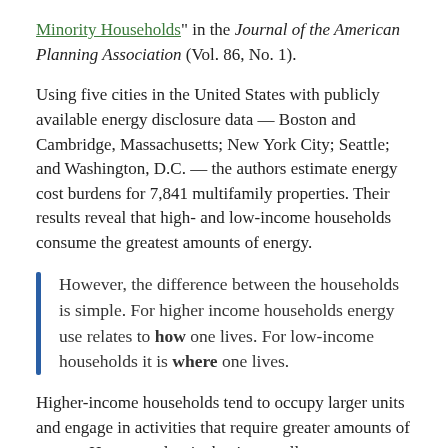"Minority Households" in the Journal of the American Planning Association (Vol. 86, No. 1).
Using five cities in the United States with publicly available energy disclosure data — Boston and Cambridge, Massachusetts; New York City; Seattle; and Washington, D.C. — the authors estimate energy cost burdens for 7,841 multifamily properties. Their results reveal that high- and low-income households consume the greatest amounts of energy.
However, the difference between the households is simple. For higher income households energy use relates to how one lives. For low-income households it is where one lives.
Higher-income households tend to occupy larger units and engage in activities that require greater amounts of energy. However, despite having smaller